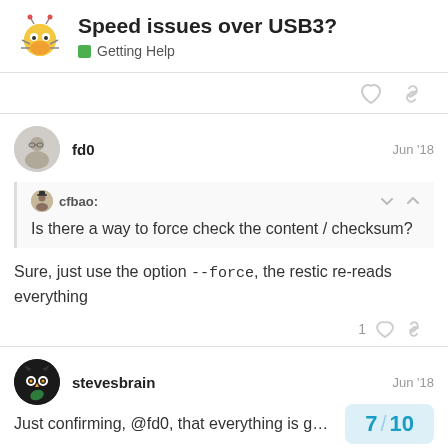Speed issues over USB3? — Getting Help
fd0  Jun '18
cfbao: Is there a way to force check the content / checksum?
Sure, just use the option --force, the restic re-reads everything
stevesbrain  Jun '18
Just confirming, @fd0, that everything is g…
7 / 10